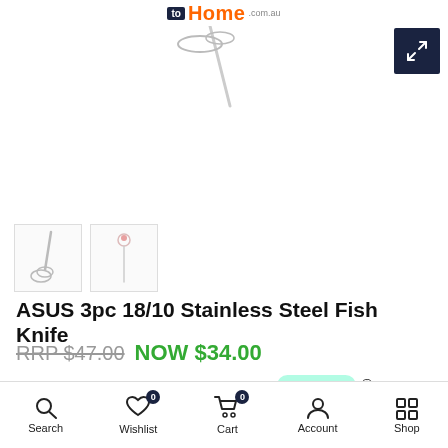to Home com.au
[Figure (photo): Product image area showing stainless steel fish knife/whisk, cropped at top]
[Figure (photo): Two product thumbnail images: a whisk and a small kitchen tool]
ASUS 3pc 18/10 Stainless Steel Fish Knife
RRP $47.00  NOW $34.00
Make 4 interest-free payments of $8.50 with afterpay
5 interest-free payments of $6.80 with humm
Search  Wishlist 0  Cart 0  Account  Shop